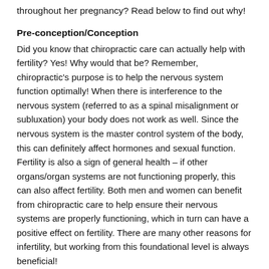throughout her pregnancy?  Read below to find out why!
Pre-conception/Conception
Did you know that chiropractic care can actually help with fertility?  Yes!  Why would that be?  Remember, chiropractic's purpose is to help the nervous system function optimally!  When there is interference to the nervous system (referred to as a spinal misalignment or subluxation) your body does not work as well.  Since the nervous system is the master control system of the body, this can definitely affect hormones and sexual function.  Fertility is also a sign of general health – if other organs/organ systems are not functioning properly, this can also affect fertility.  Both men and women can benefit from chiropractic care to help ensure their nervous systems are properly functioning, which in turn can have a positive effect on fertility.  There are many other reasons for infertility, but working from this foundational level is always beneficial!